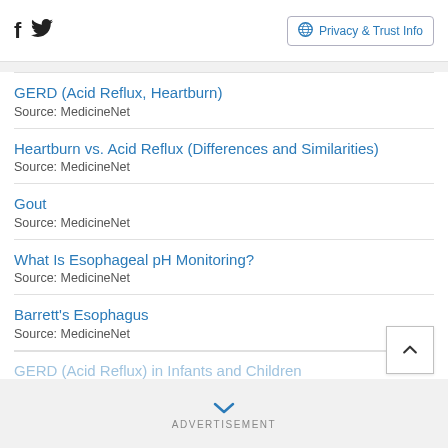Facebook Twitter | Privacy & Trust Info
GERD (Acid Reflux, Heartburn)
Source: MedicineNet
Heartburn vs. Acid Reflux (Differences and Similarities)
Source: MedicineNet
Gout
Source: MedicineNet
What Is Esophageal pH Monitoring?
Source: MedicineNet
Barrett's Esophagus
Source: MedicineNet
GERD (Acid Reflux) in Infants and Children
ADVERTISEMENT